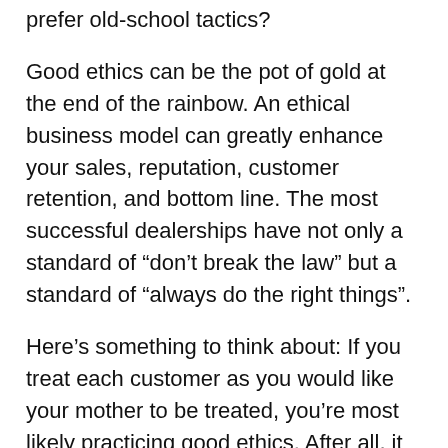prefer old-school tactics?
Good ethics can be the pot of gold at the end of the rainbow. An ethical business model can greatly enhance your sales, reputation, customer retention, and bottom line. The most successful dealerships have not only a standard of “don’t break the law” but a standard of “always do the right things”.
Here’s something to think about: If you treat each customer as you would like your mother to be treated, you’re most likely practicing good ethics. After all, it was probably your mom who first said “just because you can, doesn’t mean you should.”
Jim Radogna is a nationally-recognized auto industry consultant specializing in dealership sales and regulatory compliance. He is the President of Dealer Compliance